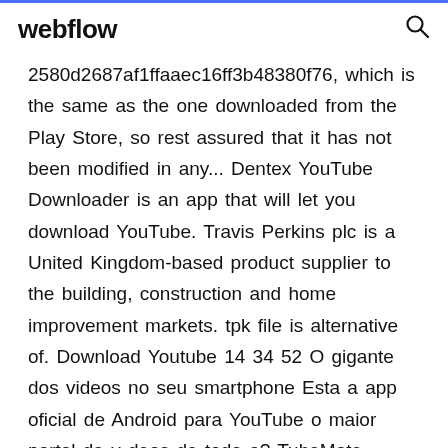webflow
2580d2687af1ffaaec16ff3b48380f76, which is the same as the one downloaded from the Play Store, so rest assured that it has not been modified in any... Dentex YouTube Downloader is an app that will let you download YouTube. Travis Perkins plc is a United Kingdom-based product supplier to the building, construction and home improvement markets. tpk file is alternative of. Download Youtube 14 34 52 O gigante dos videos no seu smartphone Esta a app oficial de Android para YouTube o maior portal de v deos de toda a? TubeMate YouTube Downloader 2 4 13 Download APK para! Cloud Downloader, BitTorrent Client and Music Playerfor Android :::How to install Google